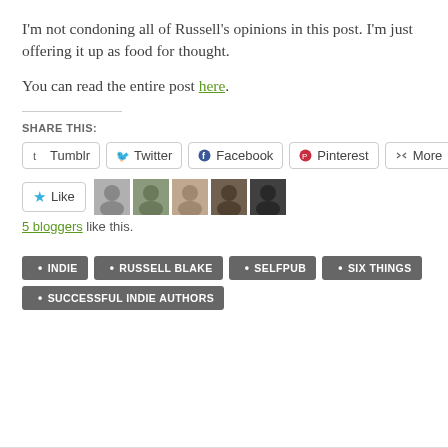I'm not condoning all of Russell's opinions in this post. I'm just offering it up as food for thought.
You can read the entire post here.
SHARE THIS:
Tumblr  Twitter  Facebook  Pinterest  More
[Figure (other): Like button with star icon, followed by 5 blogger avatar thumbnails]
5 bloggers like this.
INDIE
RUSSELL BLAKE
SELFPUB
SIX THINGS
SUCCESSFUL INDIE AUTHORS